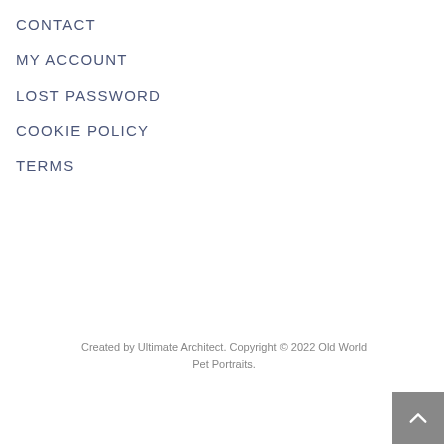CONTACT
MY ACCOUNT
LOST PASSWORD
COOKIE POLICY
TERMS
Created by Ultimate Architect. Copyright © 2022 Old World Pet Portraits.